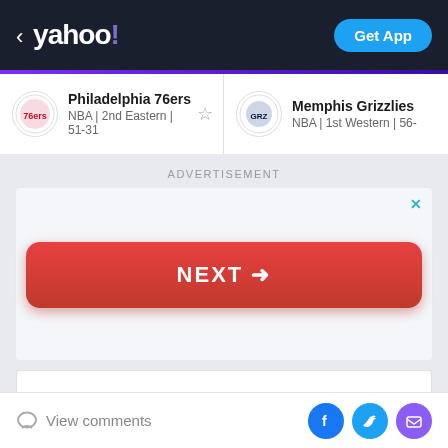< yahoo! | Get App
Philadelphia 76ers | NBA | 2nd Eastern | 51-31
Memphis Grizzlies | NBA | 1st Western | 56-
ADVERTISEMENT
[Figure (screenshot): Red button with text NEXT → inside a light gray advertisement box with an X close button]
Trending For You Today
View comments
[Figure (infographic): Social share icons: Facebook (blue circle with f), Twitter (blue circle with bird), Email (purple circle with envelope)]